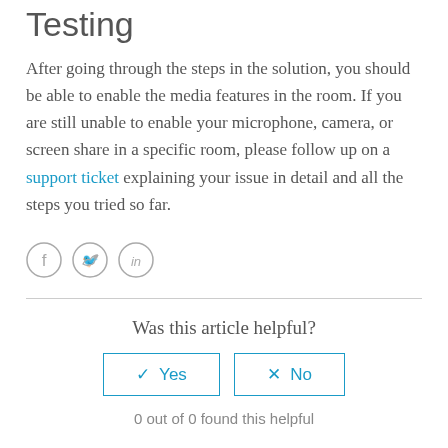Testing
After going through the steps in the solution, you should be able to enable the media features in the room. If you are still unable to enable your microphone, camera, or screen share in a specific room, please follow up on a support ticket explaining your issue in detail and all the steps you tried so far.
[Figure (illustration): Social sharing icons: Facebook, Twitter, LinkedIn circles]
Was this article helpful?
Yes   No
0 out of 0 found this helpful